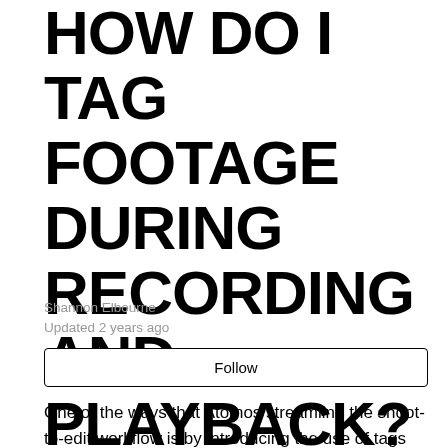HOW DO I TAG FOOTAGE DURING RECORDING AND PLAYBACK?
Shannon Elbourne
Updated 2 years ago
Follow
One of the ways that Atomos streamline the shoot-to-edit workflow is by introducing the use of tags that can be applied during the shoot or in playback and saved out to be referenced